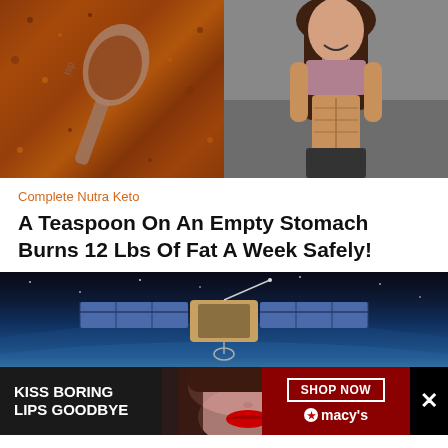[Figure (photo): Two side-by-side photos: left shows a teaspoon with reddish-brown spice powder, right shows a fit woman in athletic wear showing her abs]
Complete Nutra Keto
A Teaspoon On An Empty Stomach Burns 12 Lbs Of Fat A Week Safely!
[Figure (photo): A satellite in space above Earth's curved horizon against dark blue sky]
[Figure (photo): Advertisement banner: KISS BORING LIPS GOODBYE with woman's face and red lips, SHOP NOW button, Macy's logo, and black X close button]